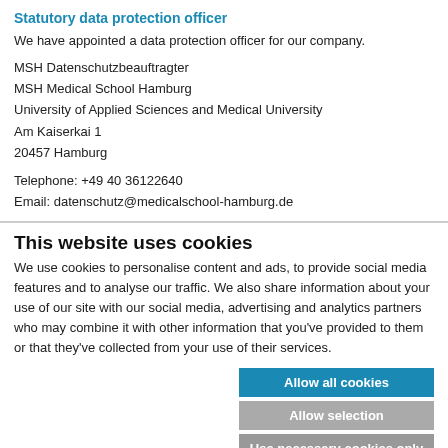Statutory data protection officer
We have appointed a data protection officer for our company.
MSH Datenschutzbeauftragter
MSH Medical School Hamburg
University of Applied Sciences and Medical University
Am Kaiserkai 1
20457 Hamburg
Telephone: +49 40 36122640
Email: datenschutz@medicalschool-hamburg.de
This website uses cookies
We use cookies to personalise content and ads, to provide social media features and to analyse our traffic. We also share information about your use of our site with our social media, advertising and analytics partners who may combine it with other information that you've provided to them or that they've collected from your use of their services.
Allow all cookies
Allow selection
Use necessary cookies only
Necessary  Preferences  Statistics  Marketing  Show details